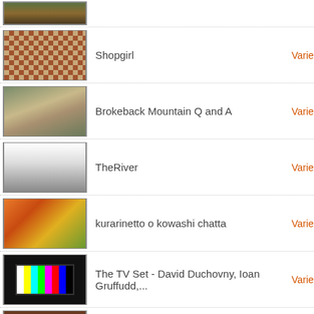(partial item at top)
Shopgirl
Brokeback Mountain Q and A
TheRiver
kurarinetto o kowashi chatta
The TV Set - David Duchovny, Ioan Gruffudd,...
Jennifer Aniston & Sebastian Stan Actors on ...